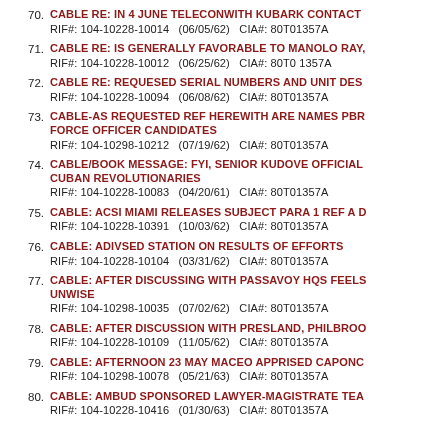70. CABLE RE: IN 4 JUNE TELECONWITH KUBARK CONTACT
RIF#: 104-10228-10014   (06/05/62)   CIA#: 80T01357A
71. CABLE RE: IS GENERALLY FAVORABLE TO MANOLO RAY,
RIF#: 104-10228-10012   (06/25/62)   CIA#: 80T0 1357A
72. CABLE RE: REQUESED SERIAL NUMBERS AND UNIT DES
RIF#: 104-10228-10094   (06/08/62)   CIA#: 80T01357A
73. CABLE-AS REQUESTED REF HEREWITH ARE NAMES PBR FORCE OFFICER CANDIDATES
RIF#: 104-10298-10212   (07/19/62)   CIA#: 80T01357A
74. CABLE/BOOK MESSAGE: FYI, SENIOR KUDOVE OFFICIAL CUBAN REVOLUTIONARIES
RIF#: 104-10228-10083   (04/20/61)   CIA#: 80T01357A
75. CABLE: ACSI MIAMI RELEASES SUBJECT PARA 1 REF A D
RIF#: 104-10228-10391   (10/03/62)   CIA#: 80T01357A
76. CABLE: ADIVSED STATION ON RESULTS OF EFFORTS
RIF#: 104-10228-10104   (03/31/62)   CIA#: 80T01357A
77. CABLE: AFTER DISCUSSING WITH PASSAVOY HQS FEELS UNWISE
RIF#: 104-10298-10035   (07/02/62)   CIA#: 80T01357A
78. CABLE: AFTER DISCUSSION WITH PRESLAND, PHILBROO
RIF#: 104-10228-10109   (11/05/62)   CIA#: 80T01357A
79. CABLE: AFTERNOON 23 MAY MACEO APPRISED CAPONC
RIF#: 104-10298-10078   (05/21/63)   CIA#: 80T01357A
80. CABLE: AMBUD SPONSORED LAWYER-MAGISTRATE TEA
RIF#: 104-10228-10416   (01/30/63)   CIA#: 80T01357A